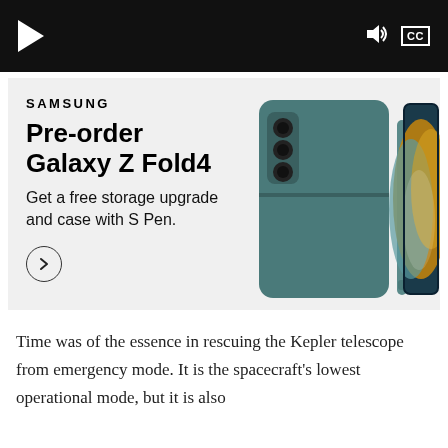[Figure (screenshot): Video player control bar with play button, speaker/volume icon, and CC (closed captions) button on black background]
[Figure (infographic): Samsung advertisement panel for Galaxy Z Fold4 pre-order offer. Includes Samsung logo, headline 'Pre-order Galaxy Z Fold4', subtext 'Get a free storage upgrade and case with S Pen.', a circular arrow button, and a product image of the Galaxy Z Fold4 phone in blue-green color with S Pen.]
Time was of the essence in rescuing the Kepler telescope from emergency mode. It is the spacecraft's lowest operational mode, but it is also